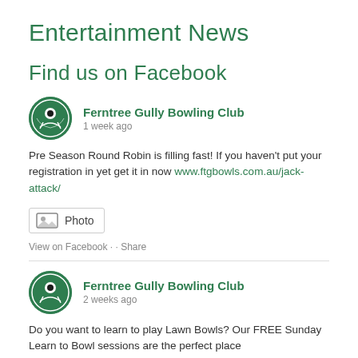Entertainment News
Find us on Facebook
Ferntree Gully Bowling Club
1 week ago
Pre Season Round Robin is filling fast! If you haven't put your registration in yet get it in now www.ftgbowls.com.au/jack-attack/
Photo
View on Facebook · Share
Ferntree Gully Bowling Club
2 weeks ago
Do you want to learn to play Lawn Bowls? Our FREE Sunday Learn to Bowl sessions are the perfect place